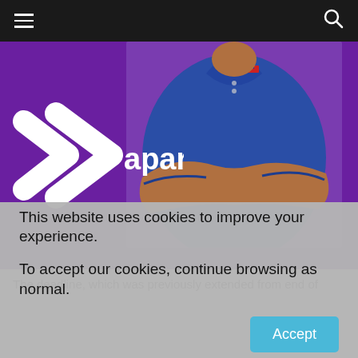≡  [navigation menu]  🔍
[Figure (photo): Purple branded banner image for 'apari' with a white double-chevron logo on the left and a man in a blue polo shirt with arms crossed on the right, against a purple background.]
The deadline, which was previously extended from end of
This website uses cookies to improve your experience.
To accept our cookies, continue browsing as normal.